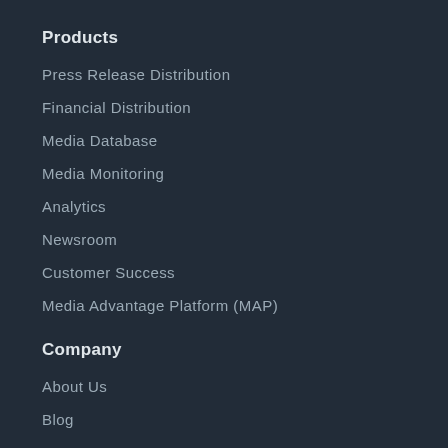Products
Press Release Distribution
Financial Distribution
Media Database
Media Monitoring
Analytics
Newsroom
Customer Success
Media Advantage Platform (MAP)
Company
About Us
Blog
Careers